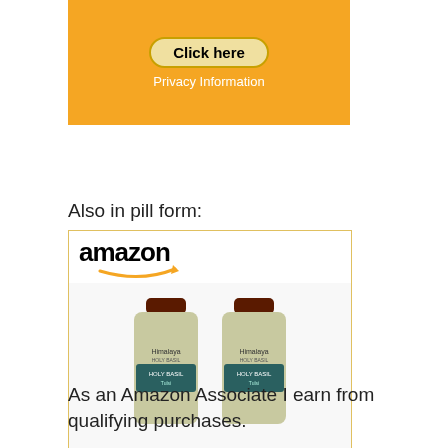[Figure (other): Orange background box with 'Click here' button and 'Privacy Information' text]
Also in pill form:
[Figure (other): Amazon advertisement showing Himalaya Holy Basil / Tulsi product with two supplement bottles, price $29.99 with Prime badge and Shop now button]
As an Amazon Associate I earn from qualifying purchases.